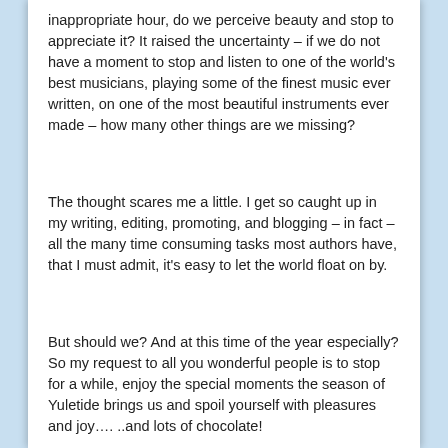inappropriate hour, do we perceive beauty and stop to appreciate it? It raised the uncertainty – if we do not have a moment to stop and listen to one of the world's best musicians, playing some of the finest music ever written, on one of the most beautiful instruments ever made – how many other things are we missing?
The thought scares me a little. I get so caught up in my writing, editing, promoting, and blogging – in fact – all the many time consuming tasks most authors have, that I must admit, it's easy to let the world float on by.
But should we? And at this time of the year especially? So my request to all you wonderful people is to stop for a while, enjoy the special moments the season of Yuletide brings us and spoil yourself with pleasures and joy…. ..and lots of chocolate!
Merry Christmas! Have a wonderful season full of friends, warmth and affection!
Hugs & love – Mimi